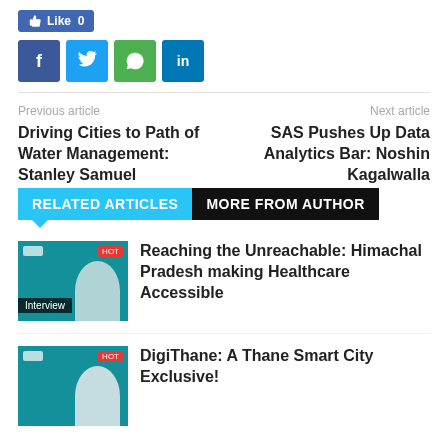[Figure (other): Like button (Facebook) showing Like 0, followed by social share icons: Facebook, Twitter, WhatsApp, LinkedIn]
Previous article
Next article
Driving Cities to Path of Water Management: Stanley Samuel
SAS Pushes Up Data Analytics Bar: Noshin Kagalwalla
RELATED ARTICLES  MORE FROM AUTHOR
[Figure (photo): Thumbnail image for article about Himachal Pradesh healthcare, teal background with person portrait, Interview tag]
Reaching the Unreachable: Himachal Pradesh making Healthcare Accessible
[Figure (photo): Thumbnail image for DigiThane article, teal background with person portrait]
DigiThane: A Thane Smart City Exclusive!